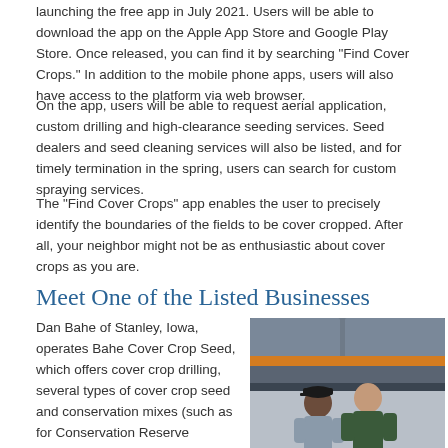launching the free app in July 2021. Users will be able to download the app on the Apple App Store and Google Play Store. Once released, you can find it by searching "Find Cover Crops." In addition to the mobile phone apps, users will also have access to the platform via web browser.
On the app, users will be able to request aerial application, custom drilling and high-clearance seeding services. Seed dealers and seed cleaning services will also be listed, and for timely termination in the spring, users can search for custom spraying services.
The “Find Cover Crops” app enables the user to precisely identify the boundaries of the fields to be cover cropped. After all, your neighbor might not be as enthusiastic about cover crops as you are.
Meet One of the Listed Businesses
Dan Bahe of Stanley, Iowa, operates Bahe Cover Crop Seed, which offers cover crop drilling, several types of cover crop seed and conservation mixes (such as for Conservation Reserve
[Figure (photo): Two men standing in front of agricultural equipment (a large seeder/drill machine with orange stripe). The man on the left wears a black cap and grey shirt; the man on the right wears a dark green long-sleeve shirt.]